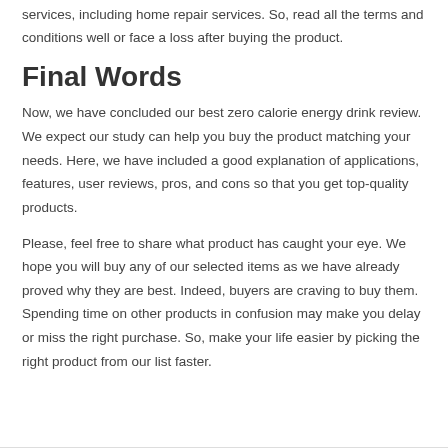services, including home repair services. So, read all the terms and conditions well or face a loss after buying the product.
Final Words
Now, we have concluded our best zero calorie energy drink review. We expect our study can help you buy the product matching your needs. Here, we have included a good explanation of applications, features, user reviews, pros, and cons so that you get top-quality products.
Please, feel free to share what product has caught your eye. We hope you will buy any of our selected items as we have already proved why they are best. Indeed, buyers are craving to buy them. Spending time on other products in confusion may make you delay or miss the right purchase. So, make your life easier by picking the right product from our list faster.